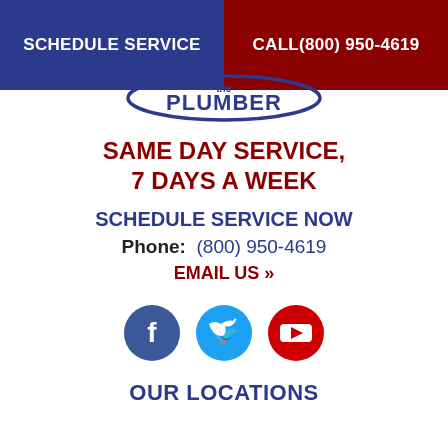SCHEDULE SERVICE | CALL(800) 950-4619
[Figure (logo): The Plumber logo with blue oval border and stylized text]
SAME DAY SERVICE, 7 DAYS A WEEK
SCHEDULE SERVICE NOW
Phone: (800) 950-4619
EMAIL US »
[Figure (infographic): Three social media icons: Facebook (blue), Twitter (light blue), YouTube (red)]
OUR LOCATIONS